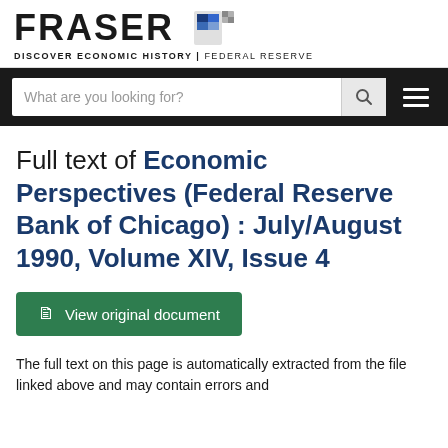[Figure (logo): FRASER logo with document icon and tagline: DISCOVER ECONOMIC HISTORY | FEDERAL RESERVE]
[Figure (screenshot): Search bar with placeholder text 'What are you looking for?' and search icon button, plus hamburger menu]
Full text of Economic Perspectives (Federal Reserve Bank of Chicago) : July/August 1990, Volume XIV, Issue 4
View original document
The full text on this page is automatically extracted from the file linked above and may contain errors and